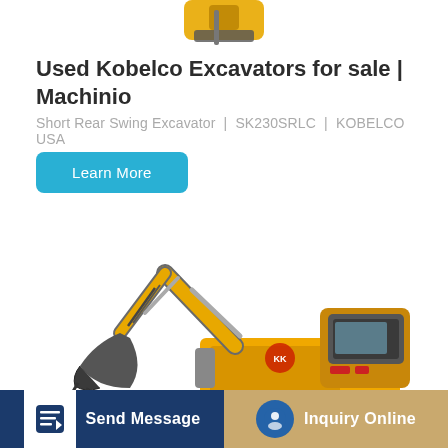[Figure (photo): Partial view of excavator or construction machine at top of page, cropped]
Used Kobelco Excavators for sale | Machinio
Short Rear Swing Excavator | SK230SRLC | KOBELCO USA
Learn More
[Figure (photo): Yellow and grey Kobelco excavator with extended arm and bucket, shown in full side profile on white background]
Send Message
Inquiry Online